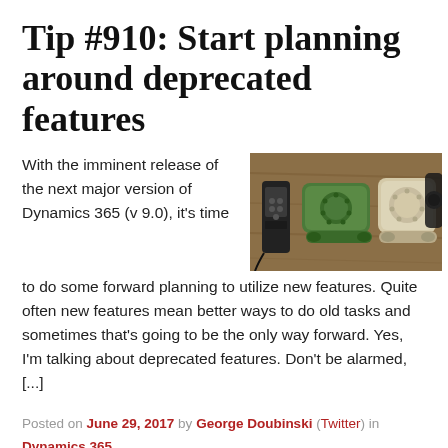Tip #910: Start planning around deprecated features
With the imminent release of the next major version of Dynamics 365 (v 9.0), it's time to do some forward planning to utilize new features. Quite often new features mean better ways to do old tasks and sometimes that's going to be the only way forward. Yes, I'm talking about deprecated features. Don't be alarmed, [...]
[Figure (photo): Three telephones of different eras lined up on a wooden surface: a modern cordless phone, a green rotary-style phone, and a black rotary phone.]
Posted on June 29, 2017 by George Doubinski (Twitter) in Dynamics 365
Tagged deprecated, upgrade | 2 Comments